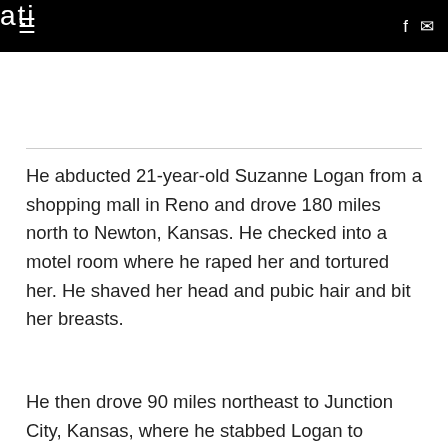ati
He abducted 21-year-old Suzanne Logan from a shopping mall in Reno and drove 180 miles north to Newton, Kansas. He checked into a motel room where he raped her and tortured her. He shaved her head and pubic hair and bit her breasts.
He then drove 90 miles northeast to Junction City, Kansas, where he stabbed Logan to